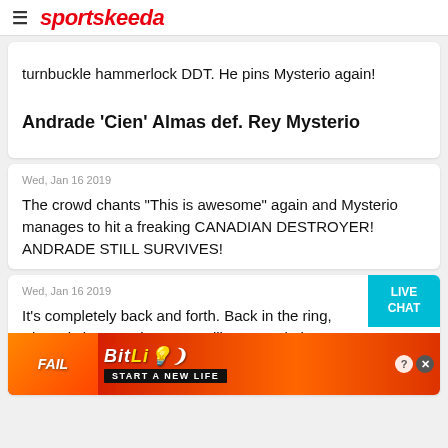sportskeeda
turnbuckle hammerlock DDT. He pins Mysterio again!
Andrade 'Cien' Almas def. Rey Mysterio
Wed, Jan 16 2019
The crowd chants "This is awesome" again and Mysterio manages to hit a freaking CANADIAN DESTROYER! ANDRADE STILL SURVIVES!
Wed, Jan 16 2019
It's completely back and forth. Back in the ring, Almas is in control. It seems like Mysterio is faster
[Figure (screenshot): BitLife advertisement banner with 'FAIL' text, cartoon character, flames, and 'START A NEW LIFE' tagline]